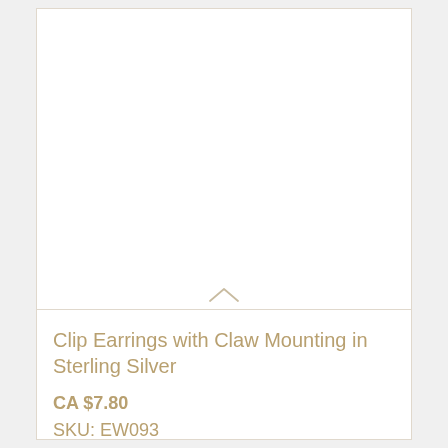[Figure (photo): White product image area with a small upward-pointing chevron arrow at the bottom center, indicating an expandable image section for clip earrings.]
Clip Earrings with Claw Mounting in Sterling Silver
CA $7.80
SKU:  EW093